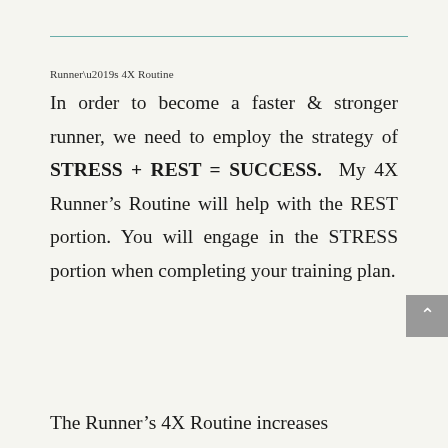Runner’s 4X Routine
In order to become a faster & stronger runner, we need to employ the strategy of STRESS + REST = SUCCESS. My 4X Runner’s Routine will help with the REST portion. You will engage in the STRESS portion when completing your training plan.
The Runner’s 4X Routine increases